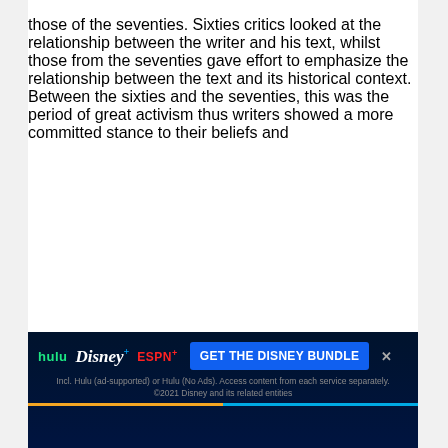those of the seventies. Sixties critics looked at the relationship between the writer and his text, whilst those from the seventies gave effort to emphasize the relationship between the text and its historical context. Between the sixties and the seventies, this was the period of great activism thus writers showed a more committed stance to their beliefs and
perspectives during this period. These
[Figure (screenshot): Advertisement banner for Disney Bundle (Hulu, Disney+, ESPN+) with dark blue background, logos, and a blue 'GET THE DISNEY BUNDLE' button. Fine print below reads: 'Incl. Hulu (ad-supported) or Hulu (No Ads). Access content from each service separately. ©2021 Disney and its related entities'. Bottom has a gradient bar of yellow and blue.]
the great role of criticism as a means